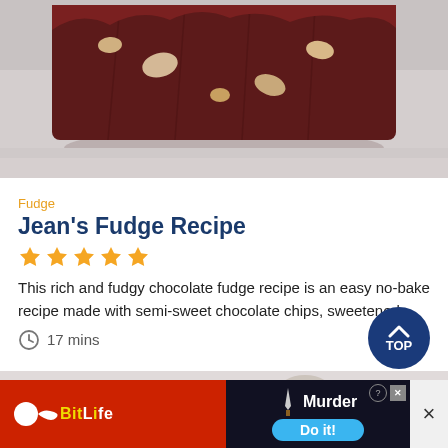[Figure (photo): Close-up photo of chocolate fudge pieces with nuts on a light surface]
Fudge
Jean's Fudge Recipe
★★★★★
This rich and fudgy chocolate fudge recipe is an easy no-bake recipe made with semi-sweet chocolate chips, sweetened
17 mins
[Figure (photo): Partial photo visible at bottom of page]
[Figure (screenshot): Advertisement banner for BitLife game showing Murder Do it! call to action]